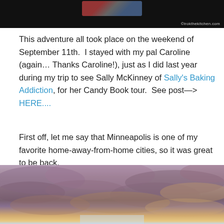[Figure (photo): Top cropped photo showing dark background with some colorful items visible at top]
This adventure all took place on the weekend of September 11th.  I stayed with my pal Caroline (again… Thanks Caroline!), just as I did last year during my trip to see Sally McKinney of Sally's Baking Addiction, for her Candy Book tour.  See post—> HERE....
First off, let me say that Minneapolis is one of my favorite home-away-from-home cities, so it was great to be back.
[Figure (photo): Dramatic sky photograph with orange and purple clouds at sunset]